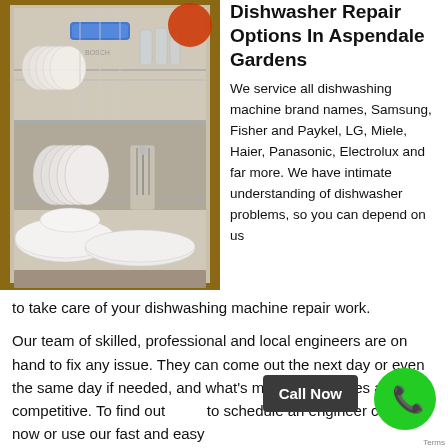[Figure (photo): Open dishwasher loaded with white plates, bowls, and glasses with a blue handle tab visible, brand label inside, utensils in basket, wooden cabinet surround]
Dishwasher Repair Options In Aspendale Gardens
We service all dishwashing machine brand names, Samsung, Fisher and Paykel, LG, Miele, Haier, Panasonic, Electrolux and far more. We have intimate understanding of dishwasher problems, so you can depend on us to take care of your dishwashing machine repair work.
Our team of skilled, professional and local engineers are on hand to fix any issue. They can come out the next day or even the same day if needed, and what's more is the prices are very competitive. To find out to schedule an engineer call us now or use our fast and easy